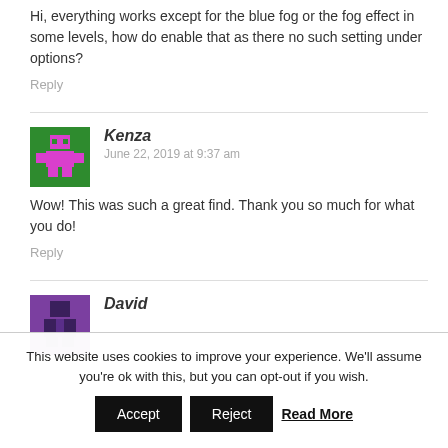Hi, everything works except for the blue fog or the fog effect in some levels, how do enable that as there no such setting under options?
Reply
[Figure (illustration): Green and magenta pixel art avatar for Kenza]
Kenza
June 22, 2019 at 9:37 am
Wow! This was such a great find. Thank you so much for what you do!
Reply
[Figure (illustration): Purple and dark pixel art avatar for David]
David
This website uses cookies to improve your experience. We'll assume you're ok with this, but you can opt-out if you wish.
Accept
Reject
Read More